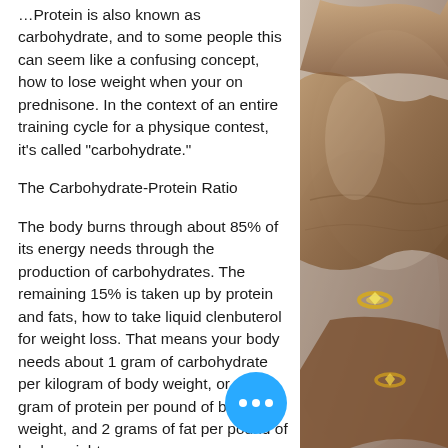…Protein is also known as carbohydrate, and to some people this can seem like a confusing concept, how to lose weight when your on prednisone. In the context of an entire training cycle for a physique contest, it's called "carbohydrate."
The Carbohydrate-Protein Ratio
The body burns through about 85% of its energy needs through the production of carbohydrates. The remaining 15% is taken up by protein and fats, how to take liquid clenbuterol for weight loss. That means your body needs about 1 gram of carbohydrate per kilogram of body weight, or one gram of protein per pound of body weight, and 2 grams of fat per pound of body weight.
This can be tricky to calculate, so let me break down how much carbohydrate and protein to eat during and after a training
[Figure (photo): Close-up photo of elderly hands, with rings visible on fingers, dark skin tones against a blurred background]